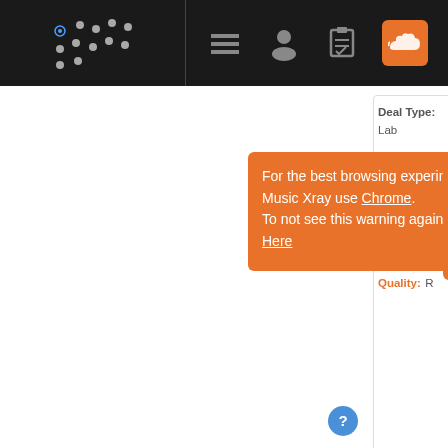[Figure (screenshot): Music Xray website navigation bar with logo (dots/stars icon), hamburger menu, user profile icon, clipboard icon, and SoundCloud orange icon]
Deal Type: Lab
Decision Make
Deal Structure
Compensation
Song Quality: R
For the best browsing experince on Music Xray use Chrome. To not see this warning again Click Here
[Figure (photo): Portrait photo of a middle-aged man in a light blue shirt against a dark background]
Seeking New A
This is an ongoing We are looking to licensing, publis